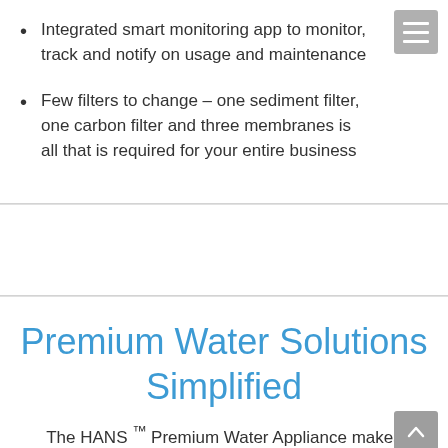Integrated smart monitoring app to monitor, track and notify on usage and maintenance
Few filters to change – one sediment filter, one carbon filter and three membranes is all that is required for your entire business
Premium Water Solutions Simplified
The HANS ™ Premium Water Appliance makes